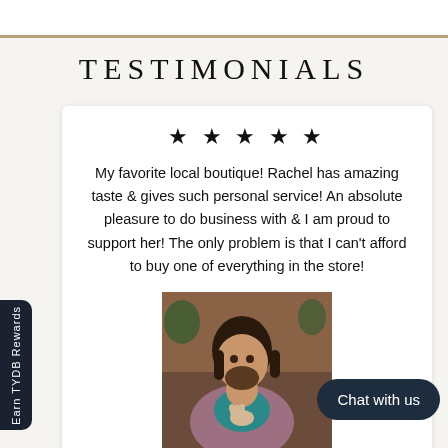TESTIMONIALS
★★★★★
My favorite local boutique! Rachel has amazing taste & gives such personal service! An absolute pleasure to do business with & I am proud to support her! The only problem is that I can't afford to buy one of everything in the store!
[Figure (photo): Woman smiling, holding a child who is holding a small dog, outdoors in front of a brick building with Christmas/holiday decorations]
Earn TYDB Rewards
Chat with us